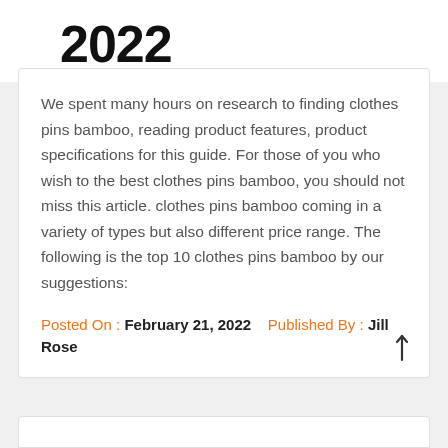2022
We spent many hours on research to finding clothes pins bamboo, reading product features, product specifications for this guide. For those of you who wish to the best clothes pins bamboo, you should not miss this article. clothes pins bamboo coming in a variety of types but also different price range. The following is the top 10 clothes pins bamboo by our suggestions:
Posted On : February 21, 2022   Published By : Jill Rose